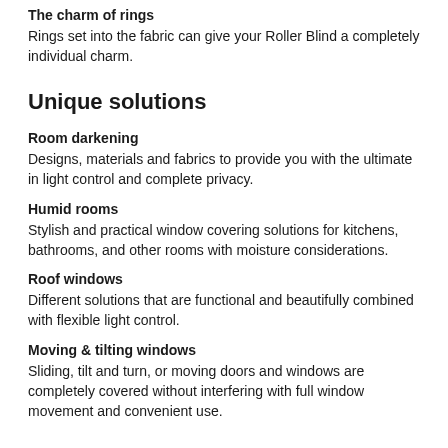The charm of rings
Rings set into the fabric can give your Roller Blind a completely individual charm.
Unique solutions
Room darkening
Designs, materials and fabrics to provide you with the ultimate in light control and complete privacy.
Humid rooms
Stylish and practical window covering solutions for kitchens, bathrooms, and other rooms with moisture considerations.
Roof windows
Different solutions that are functional and beautifully combined with flexible light control.
Moving & tilting windows
Sliding, tilt and turn, or moving doors and windows are completely covered without interfering with full window movement and convenient use.